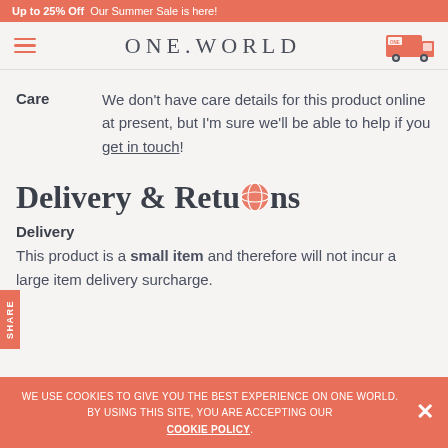Up to 25% Off Our Summer Sale is here!
[Figure (logo): ONE.WORLD logo with hamburger menu and delivery truck icon]
Care
We don't have care details for this product online at present, but I'm sure we'll be able to help if you get in touch!
Delivery & Returns
Delivery
This product is a small item and therefore will not incur a large item delivery surcharge.
WE USE COOKIES TO GIVE YOU THE BEST EXPERIENCE ON ONE WORLD. BY USING THIS SITE, YOU ARE ACCEPTING OUR COOKIE POLICY.